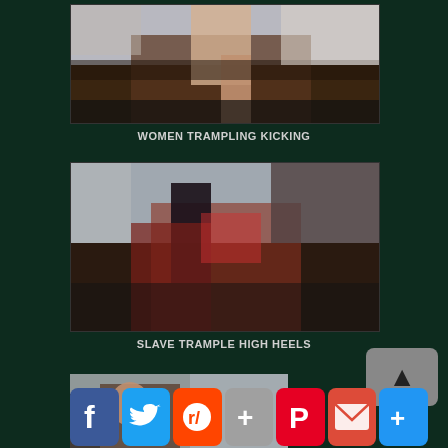[Figure (photo): Thumbnail image 1 showing two people on a bed]
WOMEN TRAMPLING KICKING
[Figure (photo): Thumbnail image 2 showing person in red fishnet outfit being kicked with high heel]
SLAVE TRAMPLE HIGH HEELS
[Figure (photo): Thumbnail image 3 partially visible at bottom]
[Figure (other): Social share bar with Facebook, Twitter, Reddit, Plus, Pinterest, Mail, More buttons]